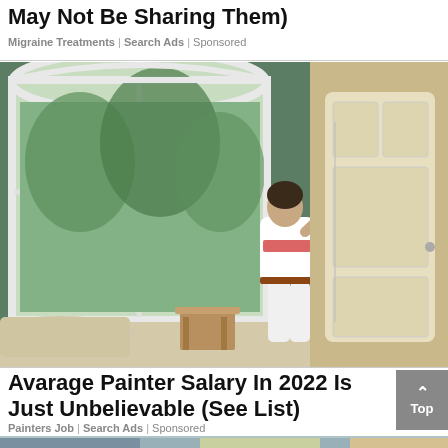May Not Be Sharing Them)
Migraine Treatments | Search Ads | Sponsored
[Figure (photo): A house painter in white uniform using a long-handled roller to paint a room wall in sage green, with large arched windows showing trees outside, and a white paneled door on the right.]
Avarage Painter Salary In 2022 Is Just Unbelievable (See List)
Painters Job | Search Ads | Sponsored